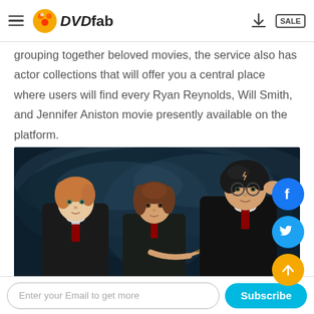DVDFab
grouping together beloved movies, the service also has actor collections that will offer you a central place where users will find every Ryan Reynolds, Will Smith, and Jennifer Aniston movie presently available on the platform.
[Figure (photo): Photo of three Harry Potter characters (Ron Weasley, Hermione Granger, Harry Potter) posed dramatically against a dark cloudy sky background.]
Enter your Email to get more
Subscribe